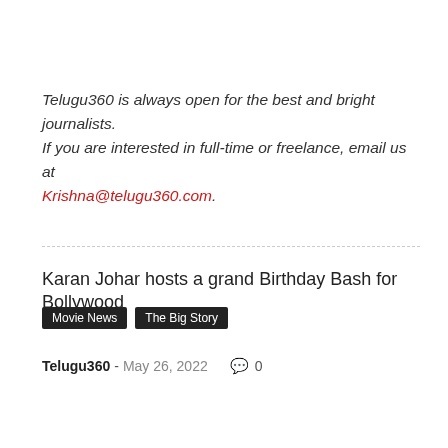Telugu360 is always open for the best and bright journalists. If you are interested in full-time or freelance, email us at Krishna@telugu360.com.
Karan Johar hosts a grand Birthday Bash for Bollywood
Movie News
The Big Story
Telugu360 - May 26, 2022   0